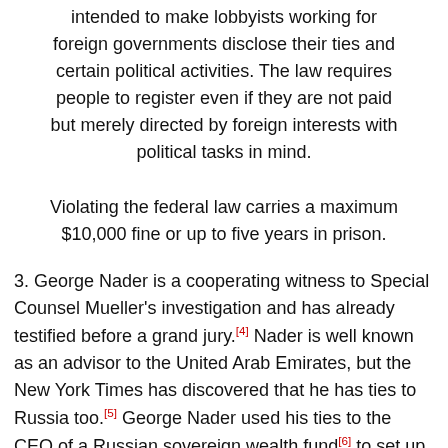intended to make lobbyists working for foreign governments disclose their ties and certain political activities. The law requires people to register even if they are not paid but merely directed by foreign interests with political tasks in mind.
Violating the federal law carries a maximum $10,000 fine or up to five years in prison.
3. George Nader is a cooperating witness to Special Counsel Mueller's investigation and has already testified before a grand jury.[4] Nader is well known as an advisor to the United Arab Emirates, but the New York Times has discovered that he has ties to Russia too.[5] George Nader used his ties to the CEO of a Russian sovereign wealth fund[6] to set up the Seychelles meeting between Trump advisor Erik Prince and Kirill A. Dmitriev to, allegedly, establish a Trump-Putin back